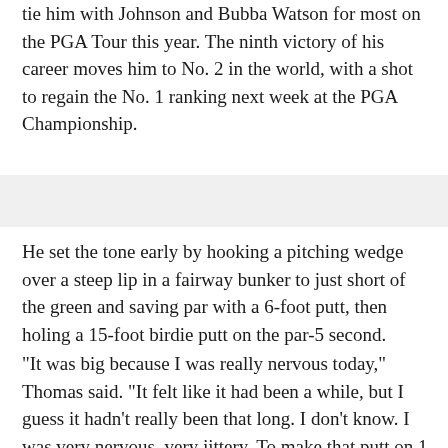tie him with Johnson and Bubba Watson for most on the PGA Tour this year. The ninth victory of his career moves him to No. 2 in the world, with a shot to regain the No. 1 ranking next week at the PGA Championship.
He set the tone early by hooking a pitching wedge over a steep lip in a fairway bunker to just short of the green and saving par with a 6-foot putt, then holing a 15-foot birdie putt on the par-5 second.
"It was big because I was really nervous today," Thomas said. "It felt like it had been a while, but I guess it hadn't really been that long. I don't know. I was very nervous, very jittery. To make that putt on 1